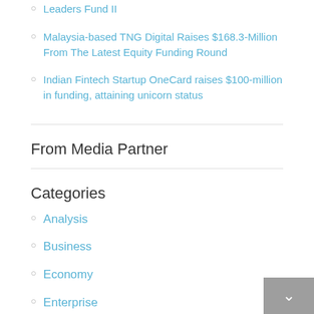Leaders Fund II
Malaysia-based TNG Digital Raises $168.3-Million From The Latest Equity Funding Round
Indian Fintech Startup OneCard raises $100-million in funding, attaining unicorn status
From Media Partner
Categories
Analysis
Business
Economy
Enterprise